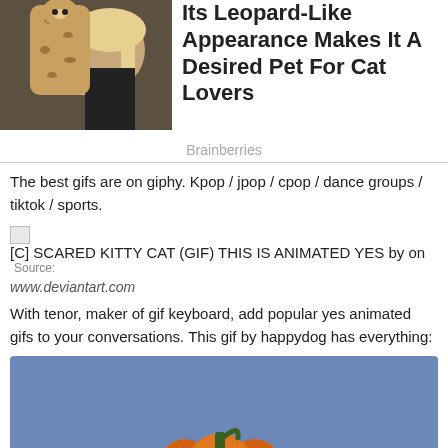[Figure (photo): Woman kissing a cat with leopard-like fur, indoors]
Its Leopard-Like Appearance Makes It A Desired Pet For Cat Lovers
Brainberries
The best gifs are on giphy. Kpop / jpop / cpop / dance groups / tiktok / sports.
[C] SCARED KITTY CAT (GIF) THIS IS ANIMATED YES by on  Source:
www.deviantart.com
With tenor, maker of gif keyboard, add popular yes animated gifs to your conversations. This gif by happydog has everything:
[Figure (illustration): Cartoon Halloween pumpkin (jack-o-lantern) on a blue background with a scroll-to-top button in the bottom right corner]